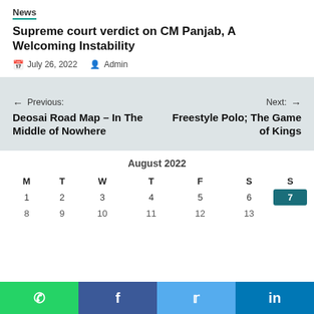News
Supreme court verdict on CM Panjab, A Welcoming Instability
July 26, 2022  Admin
← Previous: Deosai Road Map – In The Middle of Nowhere
Next: → Freestyle Polo; The Game of Kings
| M | T | W | T | F | S | S |
| --- | --- | --- | --- | --- | --- | --- |
| 1 | 2 | 3 | 4 | 5 | 6 | 7 |
| 8 | 9 | 10 | 11 | 12 | 13 |  |
WhatsApp  Facebook  Twitter  LinkedIn